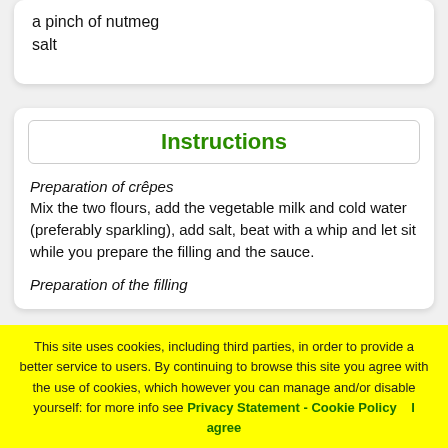a pinch of nutmeg
salt
Instructions
Preparation of crêpes
Mix the two flours, add the vegetable milk and cold water (preferably sparkling), add salt, beat with a whip and let sit while you prepare the filling and the sauce.
Preparation of the filling
This site uses cookies, including third parties, in order to provide a better service to users. By continuing to browse this site you agree with the use of cookies, which however you can manage and/or disable yourself: for more info see Privacy Statement - Cookie Policy    I agree